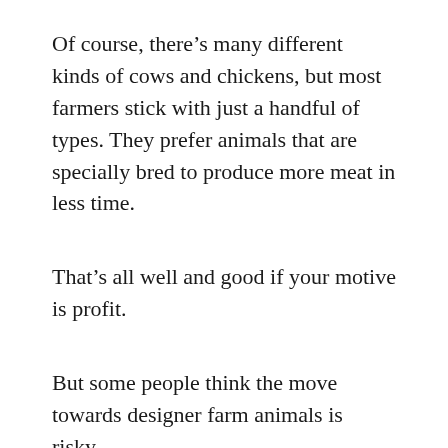Of course, there's many different kinds of cows and chickens, but most farmers stick with just a handful of types. They prefer animals that are specially bred to produce more meat in less time.
That's all well and good if your motive is profit.
But some people think the move towards designer farm animals is risky. Jerome Johnson is executive director of Garfield Farm Museum.